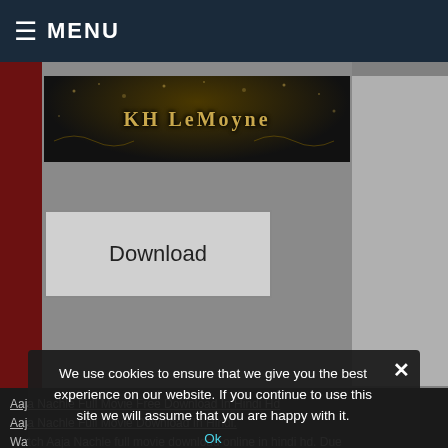≡ MENU
[Figure (illustration): Dark banner with gold ornamental text reading 'KH LeMoyne' on a dark/black background with gold decorative grunge elements]
Download
Aaja Nachle Full Movie Free Download In Hindi Hd Aaja Nachle Full Movie Download In Hindi. Watch Aaja Nachle full movie download online in hindi hd. Due to casting, some songs were shown but not included in the final cut. Aaja Nachle (2007) Hindi in HD. See
We use cookies to ensure that we give you the best experience on our website. If you continue to use this site we will assume that you are happy with it.
Ok